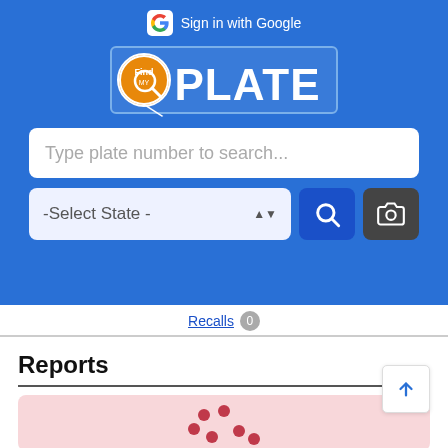[Figure (screenshot): FindPlate app screenshot showing blue header with Google Sign-in button, FindPlate logo with orange magnifying glass icon, a plate number search text input, a state dropdown selector, a search button, and a camera button]
Sign in with Google
FindPLATE
Type plate number to search...
-Select State -
Recalls 0
Reports